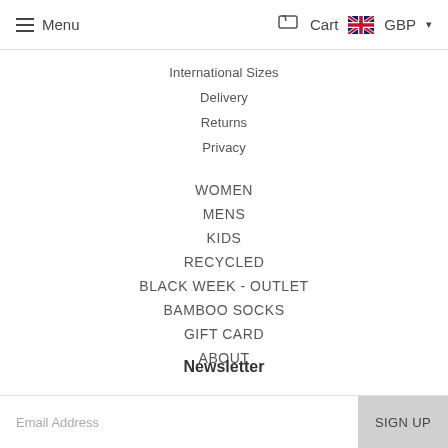Menu | Cart GBP
International Sizes
Delivery
Returns
Privacy
WOMEN
MENS
KIDS
RECYCLED
BLACK WEEK - OUTLET
BAMBOO SOCKS
GIFT CARD
ABOUT
Newsletter
Email Address | SIGN UP